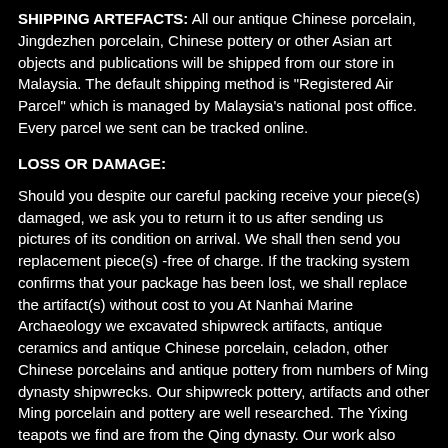SHIPPING ARTEFACTS: All our antique Chinese porcelain, Jingdezhen porcelain, Chinese pottery or other Asian art objects and publications will be shipped from our store in Malaysia. The default shipping method is "Registered Air Parcel" which is managed by Malaysia's national post office.  Every parcel we sent can be tracked online.
LOSS OR DAMAGE:
Should you despite our careful packing receive your piece(s) damaged, we ask you to return it to us after sending us pictures of its condition on arrival. We shall then send you replacement piece(s) -free of charge. If the tracking system confirms that your package has been lost, we shall replace the artifact(s) without cost to you At Nanhai Marine Archaeology we excavated shipwreck artifacts, antique ceramics and antique Chinese porcelain, celadon, other Chinese porcelains and antique pottery from numbers of Ming dynasty shipwrecks. Our shipwreck pottery, artifacts and other Ming porcelain and pottery are well researched. The Yixing teapots we find are from the Qing dynasty. Our work also involves interpretation of porcelain marks and historical research at the Jingdezhen kilns in China. Among our recoveries are kraak porcelain from the late Ming dynasty, celadon from China and Thai pottery, Chinese pottery and other antique ceramics. Most of our shipwreck artifacts are antique ceramics, celadon, blue and white porcelain and other Chinese porcelain wares from the Ming dynasty.  We also sell kraak porcelain from the porcelain kilns at Jingdezhen in China together with ancient Chinese celadon wares. We are considered experts in dating